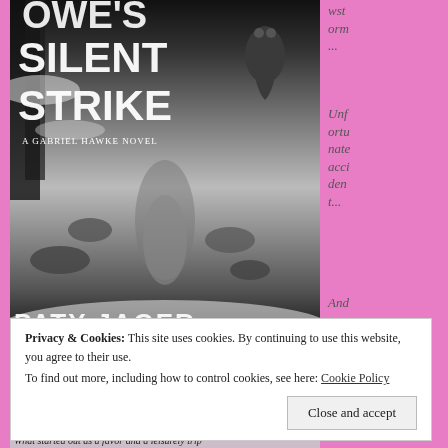[Figure (illustration): Book cover for 'Owl's Silent Strike: A Gabriel Hawke Novel' showing a snowy winter forest scene with a creek and an owl perched in trees, black and white photography style. Title text in large white bold letters, author name at bottom.]
wstorm...
Unfortunate accident...
And
Privacy & Cookies: This site uses cookies. By continuing to use this website, you agree to their use.
To find out more, including how to control cookies, see here: Cookie Policy
Close and accept
What started out as a favor and a leisurely trip